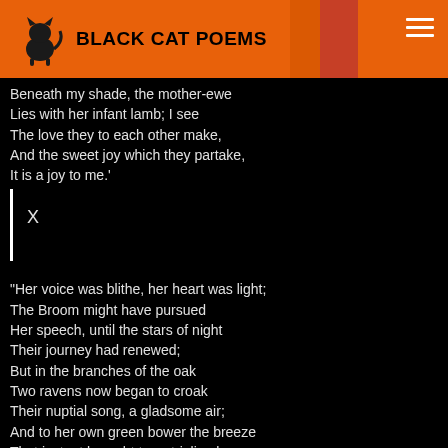BLACK CAT POEMS
Beneath my shade, the mother-ewe
Lies with her infant lamb; I see
The love they to each other make,
And the sweet joy which they partake,
It is a joy to me.'

X

"Her voice was blithe, her heart was light;
The Broom might have pursued
Her speech, until the stars of night
Their journey had renewed;
But in the branches of the oak
Two ravens now began to croak
Their nuptial song, a gladsome air;
And to her own green bower the breeze
That instant brought two stripling bees
To rest, or murmur there.